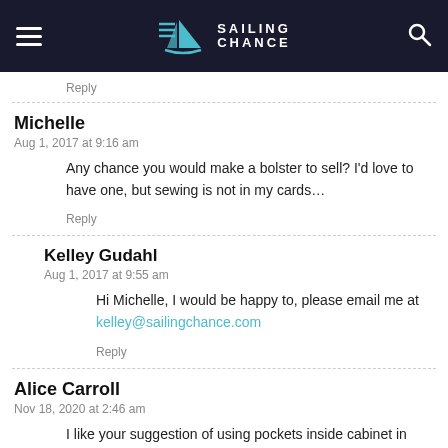Sailing Chance
Reply
Michelle
Aug 1, 2017 at 9:16 am
Any chance you would make a bolster to sell? I'd love to have one, but sewing is not in my cards…
Reply
Kelley Gudahl
Aug 1, 2017 at 9:55 am
Hi Michelle, I would be happy to, please email me at kelley@sailingchance.com
Reply
Alice Carroll
Nov 18, 2020 at 2:46 am
I like your suggestion of using pockets inside cabinet in